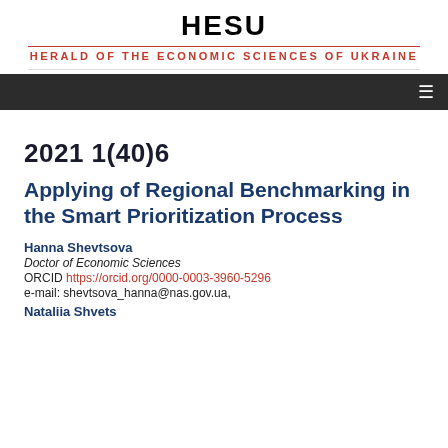HESU
HERALD OF THE ECONOMIC SCIENCES OF UKRAINE
2021 1(40)6
Applying of Regional Benchmarking in the Smart Prioritization Process
Hanna Shevtsova
Doctor of Economic Sciences
ORCID https://orcid.org/0000-0003-3960-5296
e-mail: shevtsova_hanna@nas.gov.ua,
Nataliia Shvets